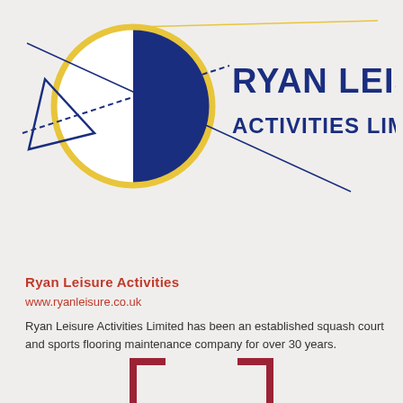[Figure (logo): Ryan Leisure Activities Limited logo: a fencing epee sword crossing a circle split into white and dark blue quadrants, surrounded by a yellow ring, with blue diagonal sword lines. Company name 'RYAN LEISURE ACTIVITIES LIMITED' in large bold dark blue text to the right.]
Ryan Leisure Activities
www.ryanleisure.co.uk
Ryan Leisure Activities Limited has been an established squash court and sports flooring maintenance company for over 30 years.
[Figure (illustration): Two red corner bracket shapes at the bottom of the page, forming an open rectangle frame decoration.]